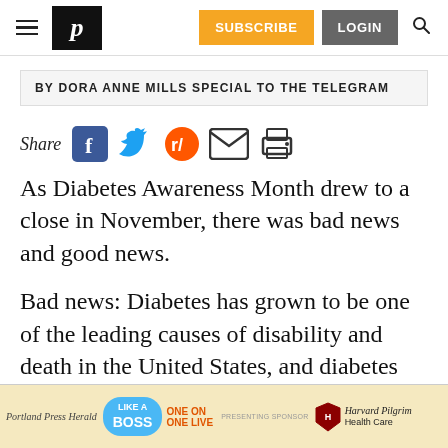Portland Press Herald — SUBSCRIBE | LOGIN
BY DORA ANNE MILLS SPECIAL TO THE TELEGRAM
Share [social icons: Facebook, Twitter, Reddit, Email, Print]
As Diabetes Awareness Month drew to a close in November, there was bad news and good news.
Bad news: Diabetes has grown to be one of the leading causes of disability and death in the United States, and diabetes rates have tripled
[Figure (screenshot): Advertisement banner: Portland Press Herald — Like A Boss / One On One Live, Presenting Sponsor Harvard Pilgrim Health Care]